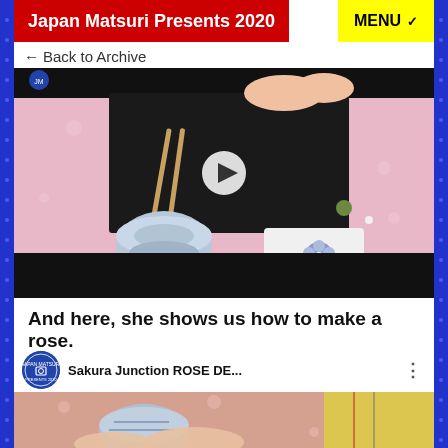Japan Matsuri Presents 2020
← Back to Archive
[Figure (screenshot): Video player showing hands making Japanese sweets (wagashi) with a black mat, chopsticks, blue bowl, and white plate with flower-shaped sweet on a pink floral tablecloth. Play button visible in center.]
And here, she shows us how to make a rose.
[Figure (screenshot): YouTube video thumbnail for 'Sakura Junction ROSE DE...' with Japan Matsuri Presents 2020 logo badge, showing hands near a ceramic bowl on a pink tablecloth, with a yellow-sleeved arm visible.]